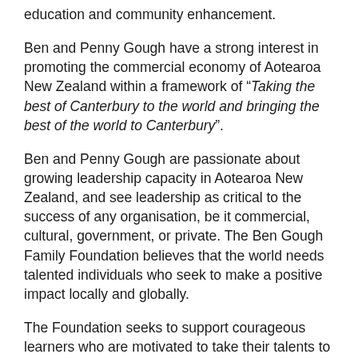education and community enhancement.
Ben and Penny Gough have a strong interest in promoting the commercial economy of Aotearoa New Zealand within a framework of “Taking the best of Canterbury to the world and bringing the best of the world to Canterbury”.
Ben and Penny Gough are passionate about growing leadership capacity in Aotearoa New Zealand, and see leadership as critical to the success of any organisation, be it commercial, cultural, government, or private. The Ben Gough Family Foundation believes that the world needs talented individuals who seek to make a positive impact locally and globally.
The Foundation seeks to support courageous learners who are motivated to take their talents to the next level and bring benefit to the commercial sector. Their commitment is to supporting leaders that aspire to